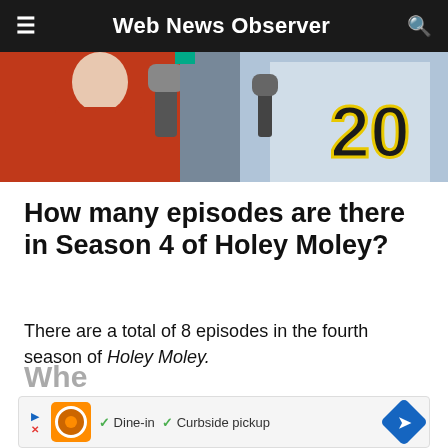Web News Observer
[Figure (photo): Two people holding microphones outdoors, one wearing a red hoodie, the other wearing a jersey with the number 20.]
How many episodes are there in Season 4 of Holey Moley?
There are a total of 8 episodes in the fourth season of Holey Moley.
Whe
[Figure (infographic): Advertisement banner showing a restaurant ad with orange logo, text reading Dine-in, Curbside pickup, with a blue diamond arrow icon.]